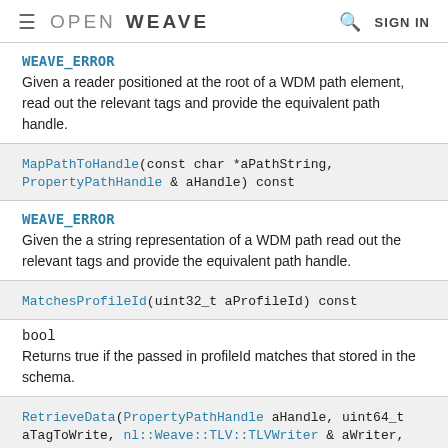≡  OPENWEAVE  🔍  SIGN IN
WEAVE_ERROR
Given a reader positioned at the root of a WDM path element, read out the relevant tags and provide the equivalent path handle.
MapPathToHandle(const char *aPathString, PropertyPathHandle & aHandle) const
WEAVE_ERROR
Given the a string representation of a WDM path read out the relevant tags and provide the equivalent path handle.
MatchesProfileId(uint32_t aProfileId) const
bool
Returns true if the passed in profileId matches that stored in the schema.
RetrieveData(PropertyPathHandle aHandle, uint64_t aTagToWrite, nl::Weave::TLV::TLVWriter & aWriter, IGetDataDelegate *aDelegate, IDirtyPathCut